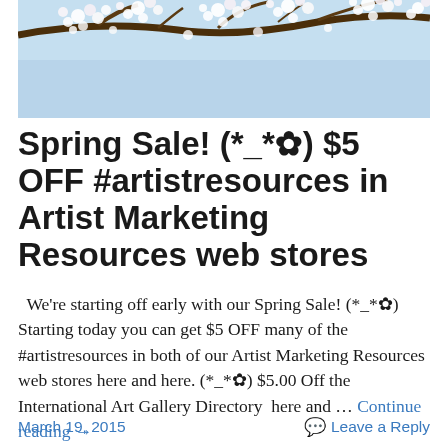[Figure (photo): Cherry blossom branches with white flowers against a light blue sky, cropped at the top of the page.]
Spring Sale! (*_*✿) $5 OFF #artistresources in Artist Marketing Resources web stores
We're starting off early with our Spring Sale! (*_*✿) Starting today you can get $5 OFF many of the #artistresources in both of our Artist Marketing Resources web stores here and here. (*_*✿) $5.00 Off the International Art Gallery Directory  here and … Continue reading →
March 19, 2015    Leave a Reply